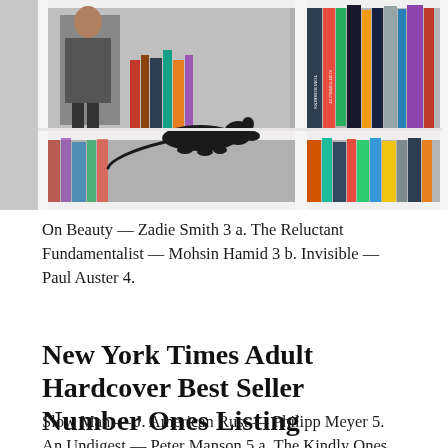[Figure (photo): A photograph of a white bookshelf with many books standing upright. A black rat figurine or toy sits on the middle shelf among the books. In the background, a person is partially visible on the left side.]
On Beauty — Zadie Smith 3 a. The Reluctant Fundamentalist — Mohsin Hamid 3 b. Invisible — Paul Auster 4.
New York Times Adult Hardcover Best Seller Number Ones Listing
Slow Man — J. American Rust — Philipp Meyer 5. An Undigest — Peter Manson 5 a. The Kindly Ones — Jonathan Littell 5 b. A Novel — Roxana Robinson 6.